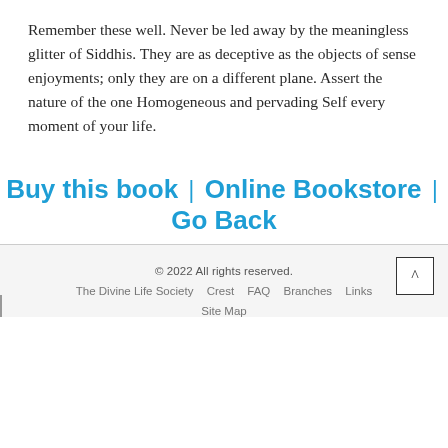Remember these well. Never be led away by the meaningless glitter of Siddhis. They are as deceptive as the objects of sense enjoyments; only they are on a different plane. Assert the nature of the one Homogeneous and pervading Self every moment of your life.
Buy this book | Online Bookstore | Go Back
© 2022 All rights reserved. The Divine Life Society  Crest  FAQ  Branches  Links  Site Map